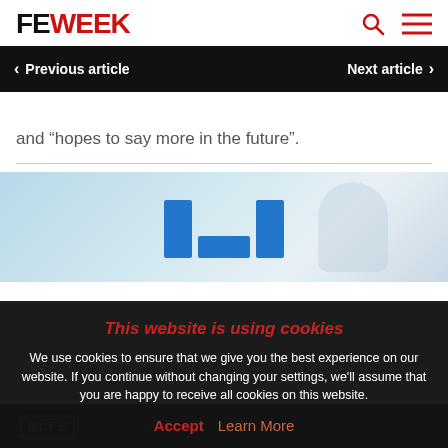FE WEEK
Previous article   Next article
and “hopes to say more in the future”.
[Figure (screenshot): Partial website screenshot showing an ITI logo graphic with blue bars on a light blue background]
This website is using cookies
We use cookies to ensure that we give you the best experience on our website. If you continue without changing your settings, we’ll assume that you are happy to receive all cookies on this website.
Accept   Learn More